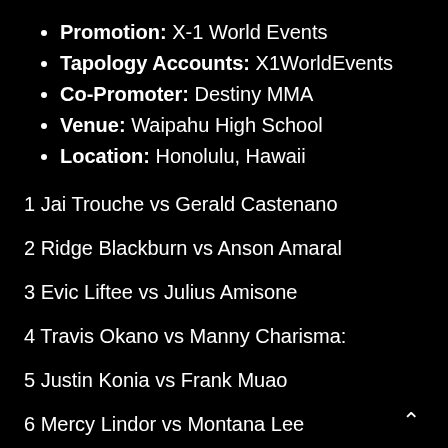Promotion: X-1 World Events
Tapology Accounts: X1WorldEvents
Co-Promoter: Destiny MMA
Venue: Waipahu High School
Location: Honolulu, Hawaii
1 Jai Trouche vs Gerald Castenano
2 Ridge Blackburn vs Anson Amaral
3 Evic Liftee vs Julius Amisone
4 Travis Okano vs Manny Charisma:
5 Justin Konia vs Frank Muao
6 Mercy Lindor vs Montana Lee